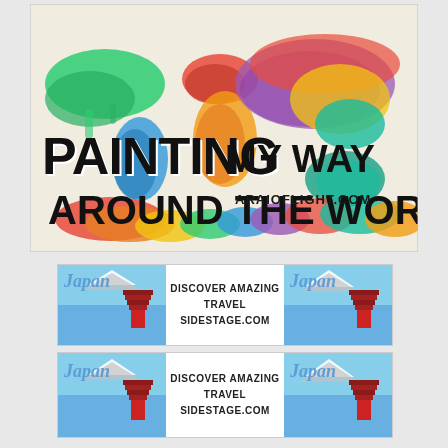[Figure (illustration): Colorful watercolor world map on canvas background with text 'PAINTING MY WAY AROUND THE WORLD' in bold black brush lettering and 'ARAIOFLIGHT.COM' in bold uppercase letters]
[Figure (infographic): Banner ad strip showing Japan travel advertisement with two Japan photos and center text 'DISCOVER AMAZING TRAVEL SIDESTAGE.COM']
[Figure (infographic): Second banner ad strip showing Japan travel advertisement with two Japan photos and center text 'DISCOVER AMAZING TRAVEL SIDESTAGE.COM']